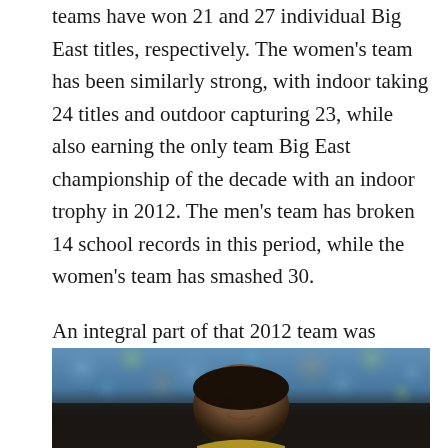teams have won 21 and 27 individual Big East titles, respectively. The women's team has been similarly strong, with indoor taking 24 titles and outdoor capturing 23, while also earning the only team Big East championship of the decade with an indoor trophy in 2012. The men's team has broken 14 school records in this period, while the women's team has smashed 30.
An integral part of that 2012 team was Emily Infeld (MSB '12), who secured Georgetown's only individual national championship of the last ten years when she took the 3,000-meter gold at the 2012 Indoor National Championships. Infeld is also one of two former Hoyas to have represented the United States in the Olympics in the past decade, along with hurdler-turned-bobsledder Chris
[Figure (photo): Photo of a male athlete, partially cropped, with a blurred colorful bokeh background in blues and greens. Only the top portion of the person's head and face is visible at the bottom of the image.]